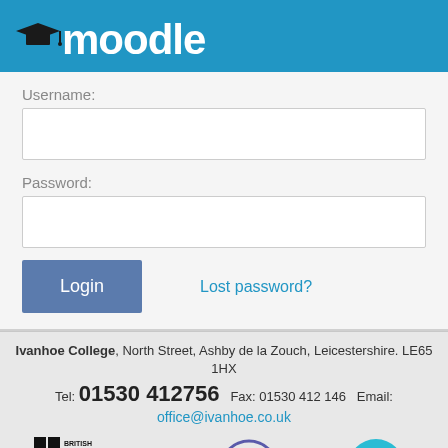[Figure (logo): Moodle logo with graduation cap and blue header background]
Username:
Password:
Login
Lost password?
Ivanhoe College, North Street, Ashby de la Zouch, Leicestershire. LE65 1HX
Tel: 01530 412756  Fax: 01530 412 146  Email: office@ivanhoe.co.uk
[Figure (logo): British Council International School Award 2014-2017 logo]
[Figure (logo): Technology logo (circular satellite dish icon)]
[Figure (logo): Healthy School logo (circular blue badge with children silhouette)]